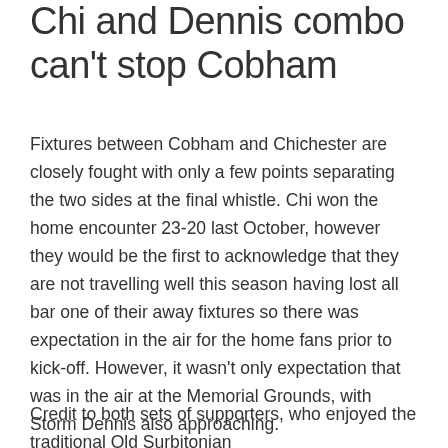Chi and Dennis combo can't stop Cobham
Fixtures between Cobham and Chichester are closely fought with only a few points separating the two sides at the final whistle. Chi won the home encounter 23-20 last October, however they would be the first to acknowledge that they are not travelling well this season having lost all bar one of their away fixtures so there was expectation in the air for the home fans prior to kick-off. However, it wasn't only expectation that was in the air at the Memorial Grounds, with Storm Dennis also approaching.
Credit to both sets of supporters, who enjoyed the traditional Old Surbitonian